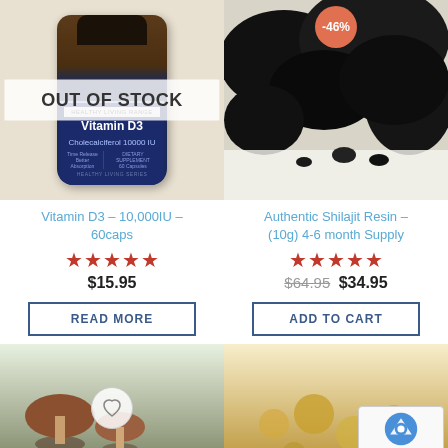[Figure (photo): Vitamin D3 supplement bottle with OUT OF STOCK overlay]
[Figure (photo): Authentic Shilajit resin chunks on white background with -46% discount badge]
Vitamin D3 – 10,000IU – 60caps
Authentic Shilajit Resin – (10g) 4-6 month Supply
★★★★★ (stars rating)
★★★★★ (stars rating)
$15.95
$64.95 $34.95
READ MORE
ADD TO CART
[Figure (photo): Bottom left product image – mushroom or plant supplement]
[Figure (photo): Bottom right product image – yellow/golden powder supplement]